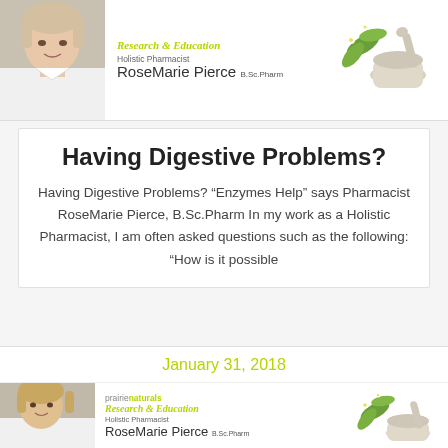[Figure (photo): Top banner with photo of RoseMarie Pierce (holistic pharmacist, woman in white coat), prairie naturals Research & Education branding, and herb/mortar illustration]
Having Digestive Problems?
Having Digestive Problems? “Enzymes Help” says Pharmacist RoseMarie Pierce, B.Sc.Pharm In my work as a Holistic Pharmacist, I am often asked questions such as the following: “How is it possible
January 31, 2018
[Figure (photo): Bottom banner with photo of RoseMarie Pierce (woman with shoulder-length blonde hair, white coat), prairie naturals Research & Education branding, and herb/mortar illustration]